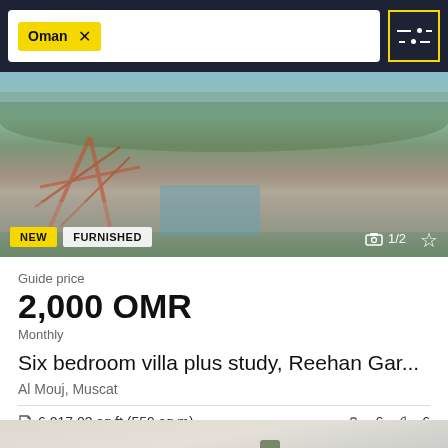Oman × [filter button]
[Figure (photo): Outdoor playground/park area with climbing structures, colorful ground markings, trees and a swimming pool in the background. Badges: NEW, FURNISHED. Image counter: 1/2]
Guide price
2,000 OMR
Monthly
Six bedroom villa plus study, Reehan Gar...
Al Mouj, Muscat
6,017.03 sq ft (559 sq m)  🛏 6  🛁 6
[Figure (photo): Partial view of a white modern villa building with a palm tree, blue sky background — second property listing]